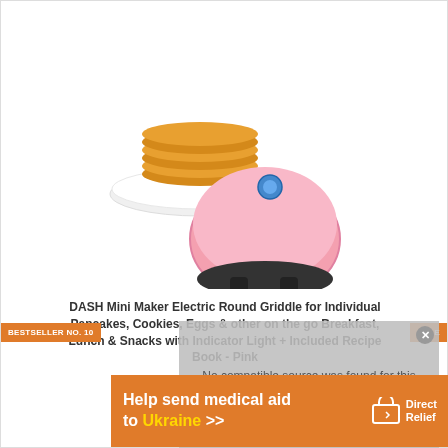[Figure (photo): Pink DASH Mini Maker Electric Round Griddle product photo with a stack of pancakes on a white plate]
DASH Mini Maker Electric Round Griddle for Individual Pancakes, Cookies, Eggs & other on the go Breakfast, Lunch & Snacks with Indicator Light + Included Recipe Book - Pink
[Figure (logo): Amazon Prime logo - checkmark with Prime text in blue italic]
[Figure (other): Check Latest Price button - red/orange button with shopping cart icon]
BESTSELLER NO. 10
SALE
No compatible source was found for this media.
Help send medical aid to Ukraine >> DirectRelief